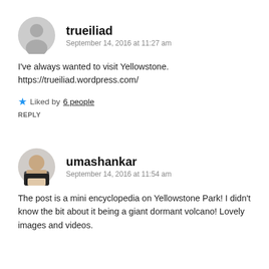[Figure (illustration): Gray circular avatar icon with silhouette of a person, for user trueiliad]
trueiliad
September 14, 2016 at 11:27 am
I've always wanted to visit Yellowstone.
https://trueiliad.wordpress.com/
★ Liked by 6 people
REPLY
[Figure (photo): Photo of umashankar, a man in a suit against a light background]
umashankar
September 14, 2016 at 11:54 am
The post is a mini encyclopedia on Yellowstone Park! I didn't know the bit about it being a giant dormant volcano! Lovely images and videos.